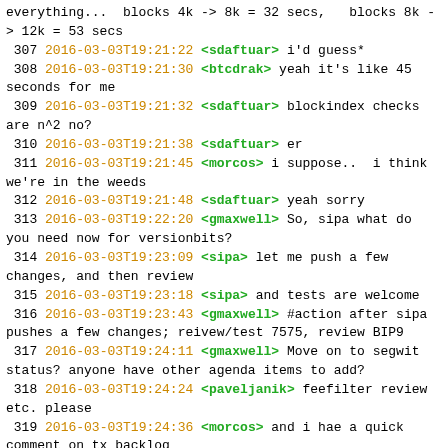everything...  blocks 4k -> 8k = 32 secs,   blocks 8k -> 12k = 53 secs
307 2016-03-03T19:21:22 <sdaftuar> i'd guess*
308 2016-03-03T19:21:30 <btcdrak> yeah it's like 45 seconds for me
309 2016-03-03T19:21:32 <sdaftuar> blockindex checks are n^2 no?
310 2016-03-03T19:21:38 <sdaftuar> er
311 2016-03-03T19:21:45 <morcos> i suppose..  i think we're in the weeds
312 2016-03-03T19:21:48 <sdaftuar> yeah sorry
313 2016-03-03T19:22:20 <gmaxwell> So, sipa what do you need now for versionbits?
314 2016-03-03T19:23:09 <sipa> let me push a few changes, and then review
315 2016-03-03T19:23:18 <sipa> and tests are welcome
316 2016-03-03T19:23:43 <gmaxwell> #action after sipa pushes a few changes; reivew/test 7575, review BIP9
317 2016-03-03T19:24:11 <gmaxwell> Move on to segwit status? anyone have other agenda items to add?
318 2016-03-03T19:24:24 <paveljanik> feefilter review etc. please
319 2016-03-03T19:24:36 <morcos> and i hae a quick comment on tx backlog
320 2016-03-03T19:24:39 <paveljanik> BIP113
321 2016-03-03T19:24:58 <gmaxwell> k, lets do txbacklog right now.
322 2016-03-03T19:24:58 <Luke-Jr> I still think